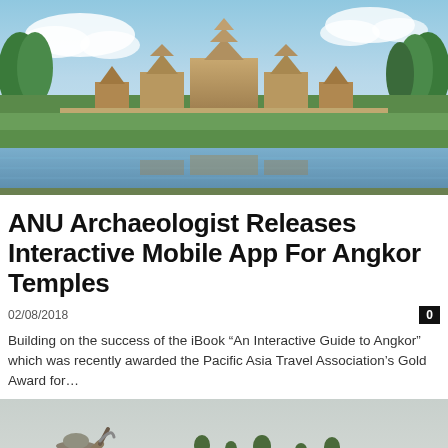[Figure (photo): Aerial/ground-level photo of Angkor Wat temple complex reflected in water, with blue sky and green trees]
ANU Archaeologist Releases Interactive Mobile App For Angkor Temples
02/08/2018
0
Building on the success of the iBook “An Interactive Guide to Angkor” which was recently awarded the Pacific Asia Travel Association’s Gold Award for…
[Figure (photo): Photo of a person wearing a hat and carrying a tool over their shoulder, standing in front of a large green agricultural field under a hazy sky]